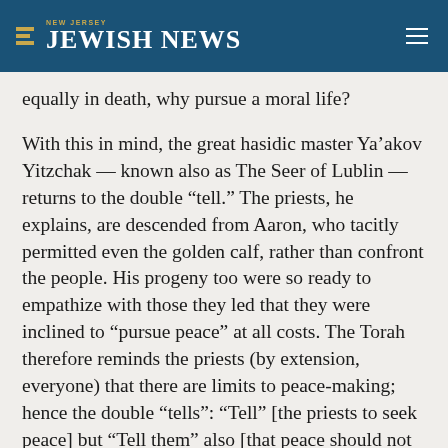NEW JERSEY JEWISH NEWS
equally in death, why pursue a moral life?
With this in mind, the great hasidic master Ya’akov Yitzchak — known also as The Seer of Lublin — returns to the double “tell.” The priests, he explains, are descended from Aaron, who tacitly permitted even the golden calf, rather than confront the people. His progeny too were so ready to empathize with those they led that they were inclined to “pursue peace” at all costs. The Torah therefore reminds the priests (by extension, everyone) that there are limits to peace-making; hence the double “tells”: “Tell” [the priests to seek peace] but “Tell them” also [that peace should not be at the expense of sacrificing moral principles].